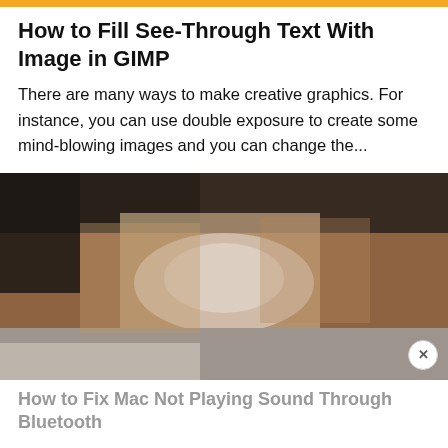How to Fill See-Through Text With Image in GIMP
There are many ways to make creative graphics. For instance, you can use double exposure to create some mind-blowing images and you can change the...
[Figure (photo): A blurred lifestyle/creative image showing a wooden surface with blurred background, serving as an example of GIMP graphic editing]
How to Fix Mac Not Playing Sound Through Bluetooth